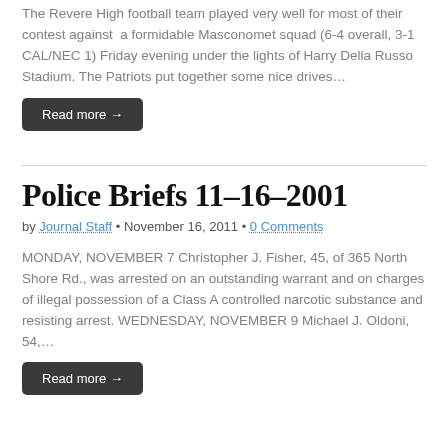The Revere High football team played very well for most of their contest against a formidable Masconomet squad (6-4 overall, 3-1 CAL/NEC 1) Friday evening under the lights of Harry Della Russo Stadium. The Patriots put together some nice drives…
Read more →
Police Briefs 11-16-2001
by Journal Staff • November 16, 2011 • 0 Comments
MONDAY, NOVEMBER 7 Christopher J. Fisher, 45, of 365 North Shore Rd., was arrested on an outstanding warrant and on charges of illegal possession of a Class A controlled narcotic substance and resisting arrest. WEDNESDAY, NOVEMBER 9 Michael J. Oldoni, 54,…
Read more →